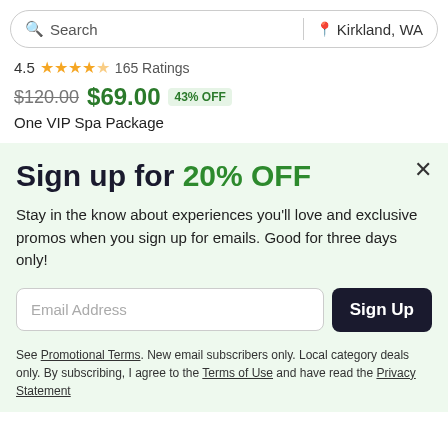Search | Kirkland, WA
4.5 ★★★★☆ 165 Ratings
$120.00 $69.00 43% OFF
One VIP Spa Package
Sign up for 20% OFF
Stay in the know about experiences you'll love and exclusive promos when you sign up for emails. Good for three days only!
Email Address  Sign Up
See Promotional Terms. New email subscribers only. Local category deals only. By subscribing, I agree to the Terms of Use and have read the Privacy Statement